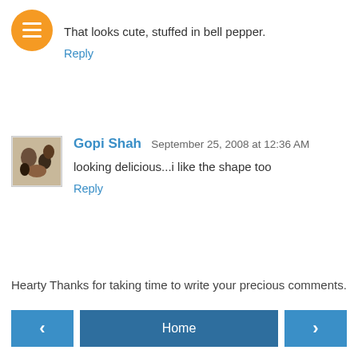That looks cute, stuffed in bell pepper.
Reply
Gopi Shah  September 25, 2008 at 12:36 AM
looking delicious...i like the shape too
Reply
Hearty Thanks for taking time to write your precious comments.
Home